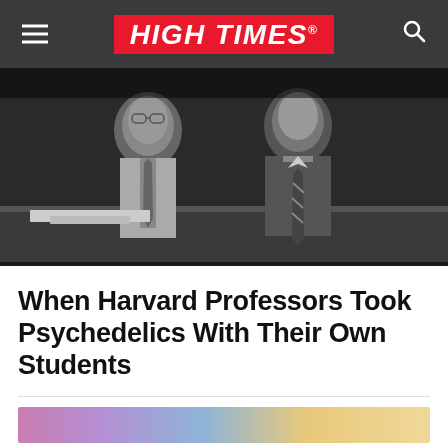HIGH TIMES
[Figure (photo): Black and white photograph of two men in suits and ties sitting at a table, viewed from the chest up.]
When Harvard Professors Took Psychedelics With Their Own Students
[Figure (photo): Colorful advertisement banner with pink, purple, blue, and golden hues]
94 Share
[Figure (infographic): Social share icons: Facebook, Twitter, LinkedIn, Reddit]